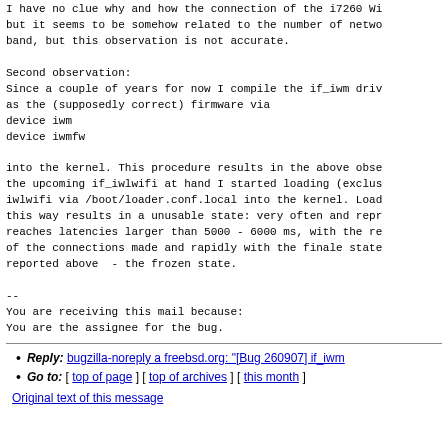I have no clue why and how the connection of the i7260 Wi but it seems to be somehow related to the number of netw band, but this observation is not accurate.
Second observation:
Since a couple of years for now I compile the if_iwm dri as the (supposedly correct) firmware via
device iwm
device iwmfw
into the kernel. This procedure results in the above obs the upcoming if_iwlwifi at hand I started loading (exclu iwlwifi via /boot/loader.conf.local into the kernel. Loa this way results in a unusable state: very often and rep reaches latencies larger than 5000 - 6000 ms, with the r of the connections made and rapidly with the finale stat reported above  - the frozen state.
--
You are receiving this mail because:
You are the assignee for the bug.
Reply: bugzilla-noreply a freebsd.org: "[Bug 260907] if_iwm
Go to: [ top of page ] [ top of archives ] [ this month ]
Original text of this message